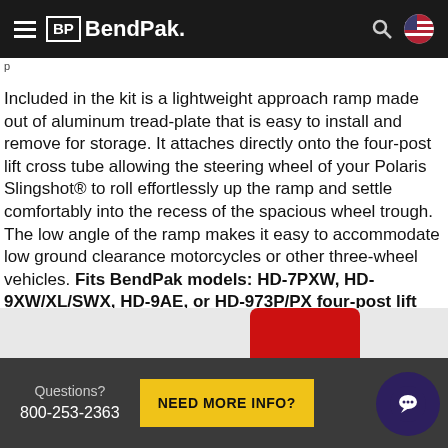BendPak
Included in the kit is a lightweight approach ramp made out of aluminum tread-plate that is easy to install and remove for storage. It attaches directly onto the four-post lift cross tube allowing the steering wheel of your Polaris Slingshot® to roll effortlessly up the ramp and settle comfortably into the recess of the spacious wheel trough. The low angle of the ramp makes it easy to accommodate low ground clearance motorcycles or other three-wheel vehicles. Fits BendPak models: HD-7PXW, HD-9XW/XL/SWX, HD-9AE, or HD-973P/PX four-post lift models with the runways configured in the wide setting.
Questions? 800-253-2363 NEED MORE INFO?